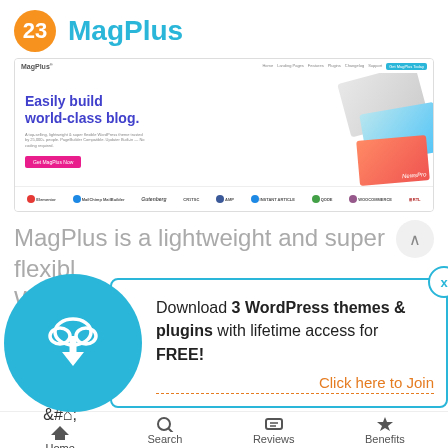23  MagPlus
[Figure (screenshot): Screenshot of the MagPlus WordPress theme website showing the hero section with text 'Easily build world-class blog.' and partner/integration logos at the bottom including Elementor, Mailchimp, Gutenberg, Crisp, AMP, Instant Article, Qode, WooCommerce, RTL]
MagPlus is a lightweight and super flexible WordPress theme that comes with 40+
[Figure (infographic): Popup banner with teal circle containing a cloud download icon on the left, and a white box with teal border on the right containing text: 'Download 3 WordPress themes & plugins with lifetime access for FREE!' and an orange 'Click here to Join' link. An X close button appears at top right of popup box.]
Home  Search  Reviews  Benefits